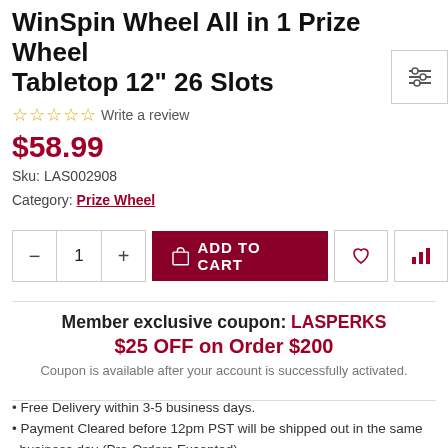WinSpin Wheel All in 1 Prize Wheel Tabletop 12" 26 Slots
☆☆☆☆☆ Write a review
$58.99
Sku: LAS002908
Category: Prize Wheel
— 1 + ADD TO CART ♡ chart
Member exclusive coupon: LASPERKS $25 OFF on Order $200
Coupon is available after your account is successfully activated.
Free Delivery within 3-5 business days.
Payment Cleared before 12pm PST will be shipped out in the same business day (Pre-Orders Excepted).
30-Day Warranty & Return Policy